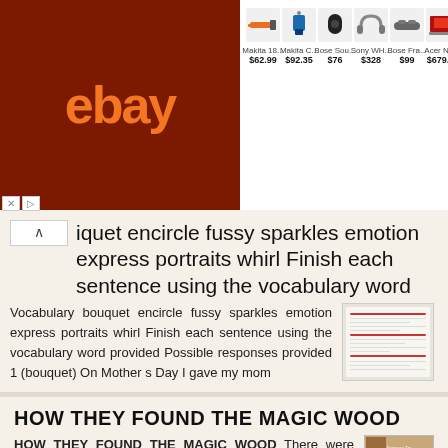[Figure (screenshot): eBay advertisement banner showing products: Makita 18... $62.99, Makita C... $92.35, Bose Sou... $76, Sony WH... $328, Bose Fra... $99, Acer Nitr... $679.99]
iquet encircle fussy sparkles emotion express portraits whirl Finish each sentence using the vocabulary word
Vocabulary bouquet encircle fussy sparkles emotion express portraits whirl Finish each sentence using the vocabulary word provided Possible responses provided 1 (bouquet) On Mother s Day I gave my mom
More information →
HOW THEY FOUND THE MAGIC WOOD
HOW THEY FOUND THE MAGIC WOOD There were once three children, called Jo, Bessie, and Fanny. All their lives they had